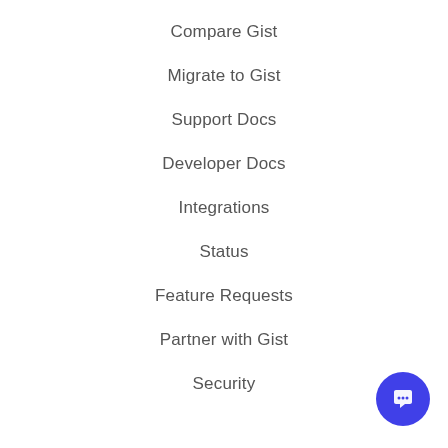Compare Gist
Migrate to Gist
Support Docs
Developer Docs
Integrations
Status
Feature Requests
Partner with Gist
Security
[Figure (illustration): Blue circular chat/support button with a speech bubble icon, positioned bottom-right corner]